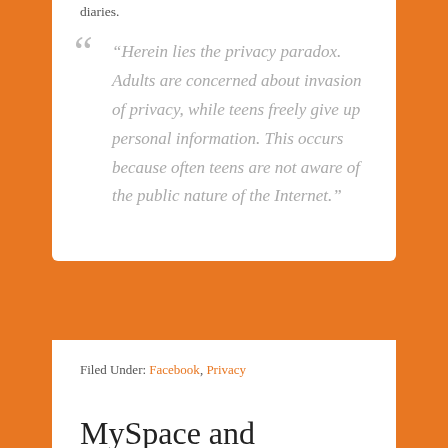diaries.
“Herein lies the privacy paradox. Adults are concerned about invasion of privacy, while teens freely give up personal information. This occurs because often teens are not aware of the public nature of the Internet.”
Filed Under: Facebook, Privacy
Tagged With: myspace, Privacy
MySpace and